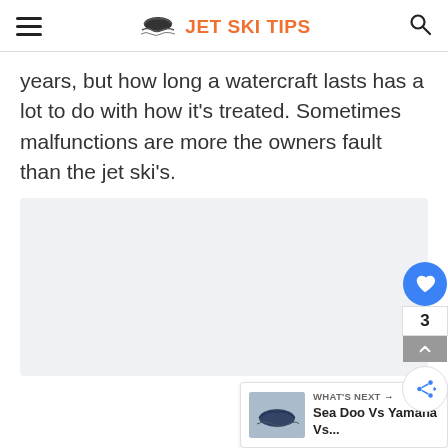JET SKI TIPS
years, but how long a watercraft lasts has a lot to do with how it’s treated. Sometimes malfunctions are more the owners fault than the jet ski’s.
[Figure (other): Advertisement or content placeholder area with light grey background]
WHAT’S NEXT → Sea Doo Vs Yamaha Vs...